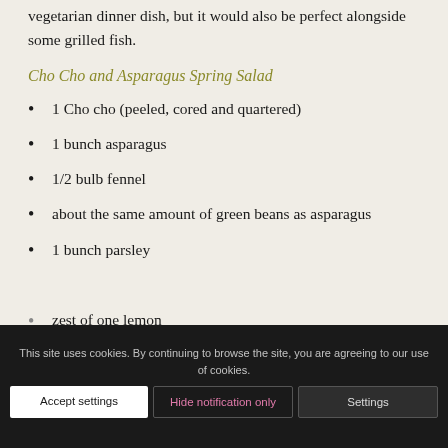vegetarian dinner dish, but it would also be perfect alongside some grilled fish.
Cho Cho and Asparagus Spring Salad
1 Cho cho (peeled, cored and quartered)
1 bunch asparagus
1/2 bulb fennel
about the same amount of green beans as asparagus
1 bunch parsley
zest of one lemon
juice of two lemons
This site uses cookies. By continuing to browse the site, you are agreeing to our use of cookies.
small glug of olive oil